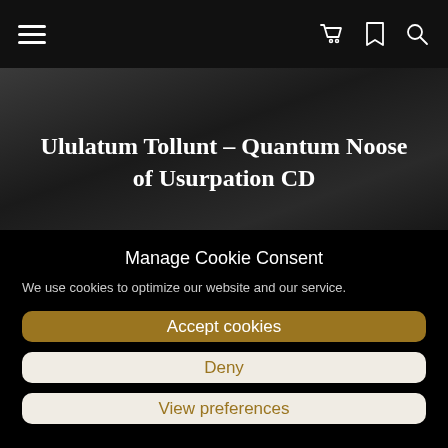Navigation bar with hamburger menu, cart icon, bookmark icon, search icon
Ululatum Tollunt – Quantum Noose of Usurpation CD
Manage Cookie Consent
We use cookies to optimize our website and our service.
Accept cookies
Deny
View preferences